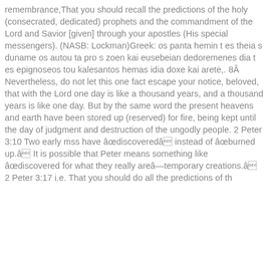remembrance,That you should recall the predictions of the holy (consecrated, dedicated) prophets and the commandment of the Lord and Savior [given] through your apostles (His special messengers). (NASB: Lockman)Greek: os panta hemin t es theia s duname os autou ta pro s zoen kai eusebeian dedoremenes dia t es epignoseos tou kalesantos hemas idia doxe kai arete,. 8Â Nevertheless, do not let this one fact escape your notice, beloved, that with the Lord one day is like a thousand years, and a thousand years is like one day. But by the same word the present heavens and earth have been stored up (reserved) for fire, being kept until the day of judgment and destruction of the ungodly people. 2 Peter 3:10 Two early mss have â€œdiscoveredâ€ instead of â€œburned up.â€ It is possible that Peter means something like â€œdiscovered for what they really areâ€”temporary creations.â€ 2 Peter 3:17 i.e. That you should recall all the predictions of the